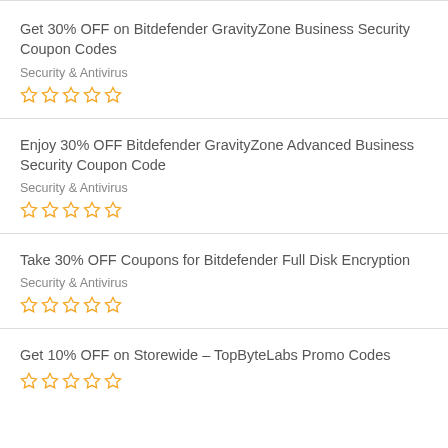Get 30% OFF on Bitdefender GravityZone Business Security Coupon Codes
Security & Antivirus
☆☆☆☆☆
Enjoy 30% OFF Bitdefender GravityZone Advanced Business Security Coupon Code
Security & Antivirus
☆☆☆☆☆
Take 30% OFF Coupons for Bitdefender Full Disk Encryption
Security & Antivirus
☆☆☆☆☆
Get 10% OFF on Storewide – TopByteLabs Promo Codes
☆☆☆☆☆